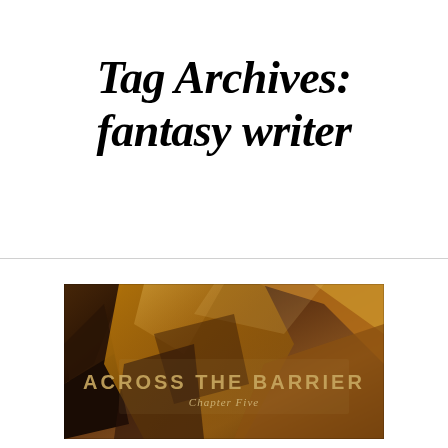Tag Archives: fantasy writer
[Figure (illustration): Book cover image for 'Across the Barrier, Chapter Five' featuring dark abstract metallic shapes with warm amber and brown tones, with stylized text reading 'ACROSS THE BARRIER' and subtitle 'Chapter Five']